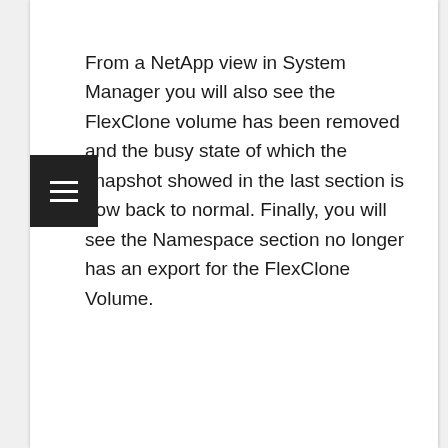From a NetApp view in System Manager you will also see the FlexClone volume has been removed and the busy state of which the snapshot showed in the last section is now back to normal. Finally, you will see the Namespace section no longer has an export for the FlexClone Volume.